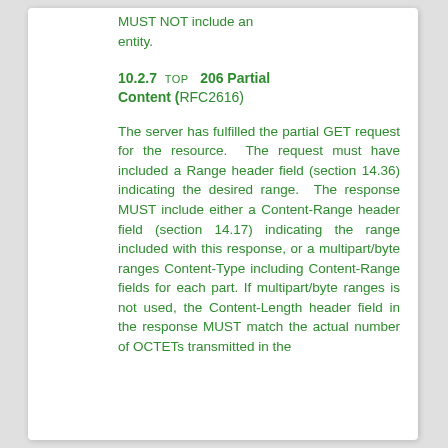MUST NOT include an entity.
10.2.7 TOP 206 Partial Content (RFC2616)
The server has fulfilled the partial GET request for the resource. The request must have included a Range header field (section 14.36) indicating the desired range. The response MUST include either a Content-Range header field (section 14.17) indicating the range included with this response, or a multipart/byte ranges Content-Type including Content-Range fields for each part. If multipart/byte ranges is not used, the Content-Length header field in the response MUST match the actual number of OCTETs transmitted in the